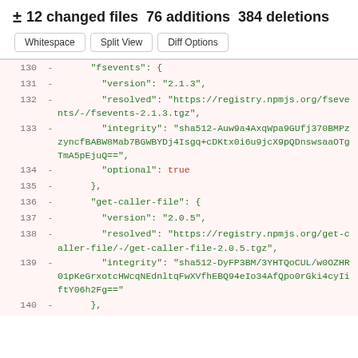± 12 changed files 76 additions 384 deletions
Whitespace | Split View | Diff Options
130 - "fsevents": {
131 - "version": "2.1.3",
132 - "resolved": "https://registry.npmjs.org/fsevents/-/fsevents-2.1.3.tgz",
133 - "integrity": "sha512-Auw9a4AxqWpa9GUfj370BMPzzyncfBABW8Mab7BGWBYDj4Isgq+cDKtx0i6u9jcX9pQDnswsaaOTgTmA5pEjuQ==",
134 - "optional": true
135 - },
136 - "get-caller-file": {
137 - "version": "2.0.5",
138 - "resolved": "https://registry.npmjs.org/get-caller-file/-/get-caller-file-2.0.5.tgz",
139 - "integrity": "sha512-DyFP3BM/3YHTQoCUL/w0OZHR01pKeGrxotcHWcqNEdnltqFwXVfhEBQ94eIo34AfQpo0rGki4cyIiftY06h2Fg=="
140 - },
141 - "glob-parent": {